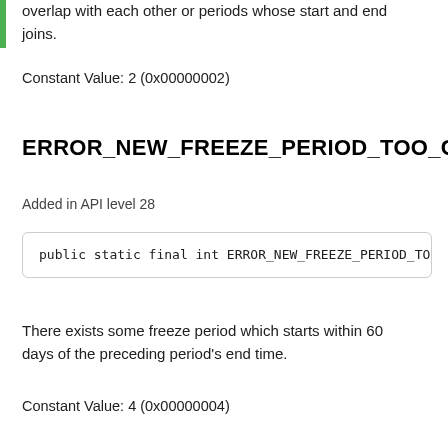overlap with each other or periods whose start and end joins.
Constant Value: 2 (0x00000002)
ERROR_NEW_FREEZE_PERIOD_TOO_CLOSE
Added in API level 28
public static final int ERROR_NEW_FREEZE_PERIOD_TOO_
There exists some freeze period which starts within 60 days of the preceding period's end time.
Constant Value: 4 (0x00000004)